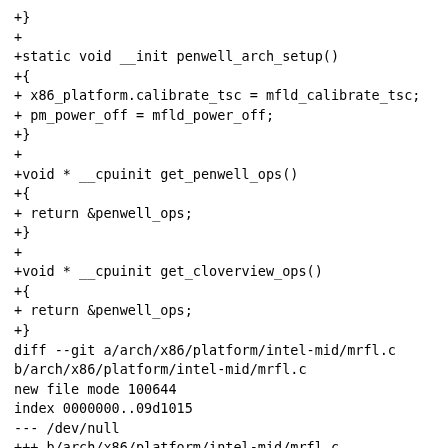+}
+
+static void __init penwell_arch_setup()
+{
+ x86_platform.calibrate_tsc = mfld_calibrate_tsc;
+ pm_power_off = mfld_power_off;
+}
+
+void * __cpuinit get_penwell_ops()
+{
+ return &penwell_ops;
+}
+
+void * __cpuinit get_cloverview_ops()
+{
+ return &penwell_ops;
+}
diff --git a/arch/x86/platform/intel-mid/mrfl.c b/arch/x86/platform/intel-mid/mrfl.c
new file mode 100644
index 0000000..09d1015
--- /dev/null
+++ b/arch/x86/platform/intel-mid/mrfl.c
@@ -0,0 +1,103 @@
+/*